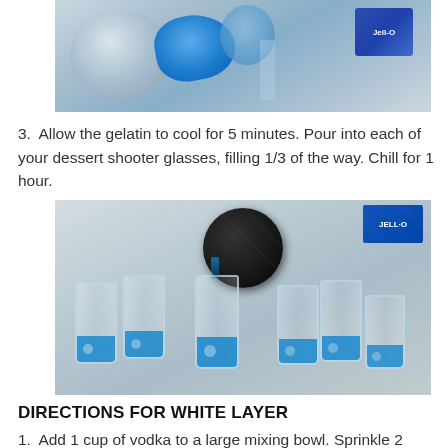[Figure (photo): Top portion of a photo showing a mixing bowl with blue gelatin and kitchen items on a granite counter]
3. Allow the gelatin to cool for 5 minutes. Pour into each of your dessert shooter glasses, filling 1/3 of the way. Chill for 1 hour.
[Figure (photo): Photo showing multiple shot glasses filled with blue gelatin being filled with a ladle, with a Jell-O box in the background on a granite counter]
DIRECTIONS FOR WHITE LAYER
1. Add 1 cup of vodka to a large mixing bowl. Sprinkle 2 envelopes of Knox gelatin on top and wait 2 minutes.
[Figure (photo): Bottom portion of a photo showing ingredients for white layer on a granite counter]